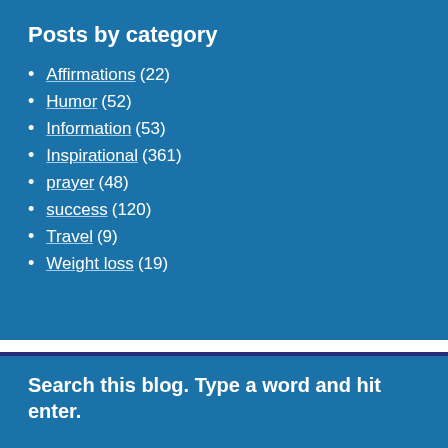Posts by category
Affirmations (22)
Humor (52)
Information (53)
Inspirational (361)
prayer (48)
success (120)
Travel (9)
Weight loss (19)
Search this blog. Type a word and hit enter.